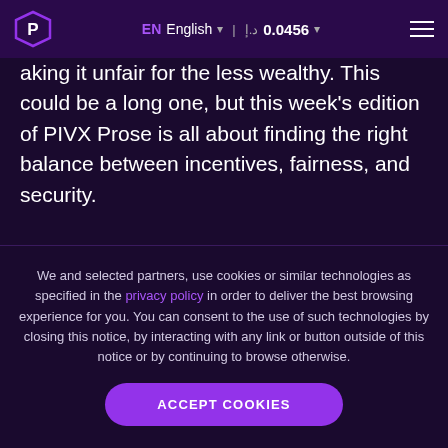EN English | د.إ 0.0456
aking it unfair for the less wealthy. This could be a long one, but this week's edition of PIVX Prose is all about finding the right balance between incentives, fairness, and security.
Proof-of-Work Works (but Sucks)
We and selected partners, use cookies or similar technologies as specified in the privacy policy in order to deliver the best browsing experience for you. You can consent to the use of such technologies by closing this notice, by interacting with any link or button outside of this notice or by continuing to browse otherwise.
ACCEPT COOKIES